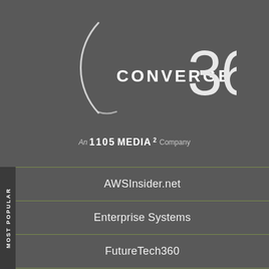[Figure (logo): Converge 360 logo with circular arc graphic and large 360 numeral]
An 1105 MEDIA² Company
MOST POPULAR
AWSInsider.net
Enterprise Systems
FutureTech360
Live! 360
MCPmag.com